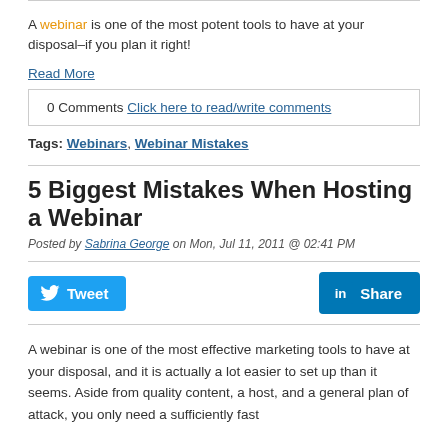A webinar is one of the most potent tools to have at your disposal–if you plan it right!
Read More
0 Comments Click here to read/write comments
Tags: Webinars, Webinar Mistakes
5 Biggest Mistakes When Hosting a Webinar
Posted by Sabrina George on Mon, Jul 11, 2011 @ 02:41 PM
[Figure (other): Tweet and LinkedIn Share social media buttons]
A webinar is one of the most effective marketing tools to have at your disposal, and it is actually a lot easier to set up than it seems. Aside from quality content, a host, and a general plan of attack, you only need a sufficiently fast